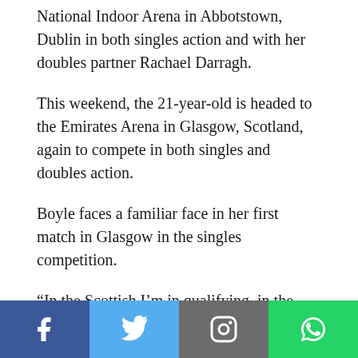National Indoor Arena in Abbotstown, Dublin in both singles action and with her doubles partner Rachael Darragh.
This weekend, the 21-year-old is headed to the Emirates Arena in Glasgow, Scotland, again to compete in both singles and doubles action.
Boyle faces a familiar face in her first match in Glasgow in the singles competition.
“In the Scottish I’m in qualifying, in the singles I play an Estonian girl called Kati-Kreet Marran who I know quite well. Hopefully I win that.
Meanwhile on the doubles’ side of things, it’s less favourable.
Social share bar: Facebook, Twitter, Instagram, WhatsApp